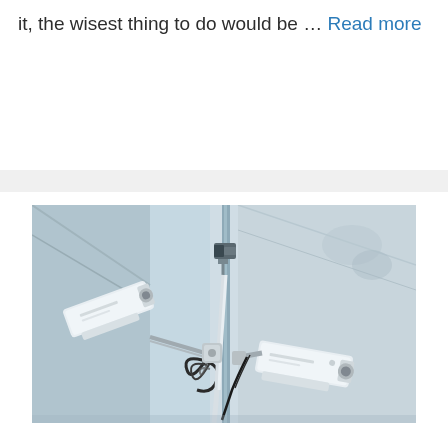it, the wisest thing to do would be ... Read more
[Figure (photo): Photograph of multiple CCTV surveillance cameras mounted on a building corner/wall, showing three white security cameras with cables and brackets against a light grey concrete wall background.]